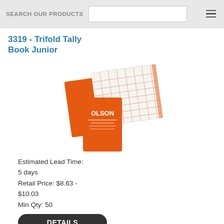SEARCH OUR PRODUCTS
3319 - Trifold Tally Book Junior
[Figure (photo): Orange trifold tally book shown open displaying lined accounting columns and closed showing OLSON branding on the cover]
Estimated Lead Time: 5 days
Retail Price: $8.63 - $10.03
Min Qty: 50
DETAILS